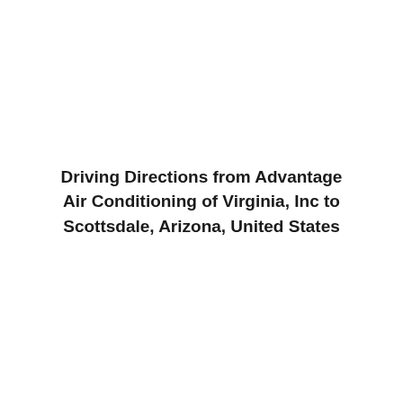Driving Directions from Advantage Air Conditioning of Virginia, Inc to Scottsdale, Arizona, United States